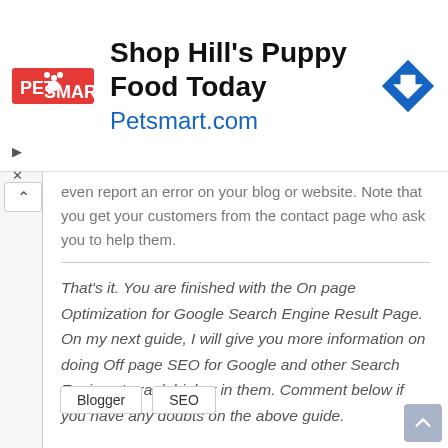[Figure (infographic): PetSmart advertisement banner: logo on left, headline 'Shop Hill's Puppy Food Today' in bold black, URL 'Petsmart.com' in blue below, blue diamond navigation arrow icon on right]
even report an error on your blog or website. Note that you get your customers from the contact page who ask you to help them.
That's it. You are finished with the On page Optimization for Google Search Engine Result Page. On my next guide, I will give you more information on doing Off page SEO for Google and other Search Engines to rank higher in them. Comment below if you have any doubts on the above guide.
Blogger
SEO